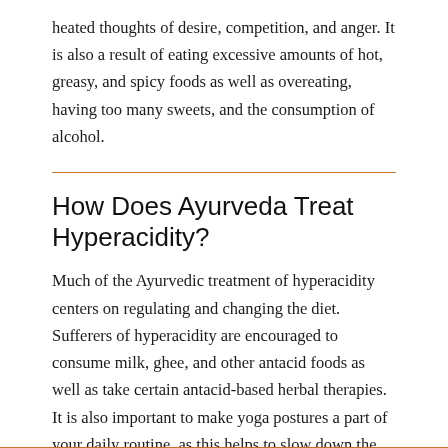heated thoughts of desire, competition, and anger. It is also a result of eating excessive amounts of hot, greasy, and spicy foods as well as overeating, having too many sweets, and the consumption of alcohol.
How Does Ayurveda Treat Hyperacidity?
Much of the Ayurvedic treatment of hyperacidity centers on regulating and changing the diet. Sufferers of hyperacidity are encouraged to consume milk, ghee, and other antacid foods as well as take certain antacid-based herbal therapies. It is also important to make yoga postures a part of your daily routine, as this helps to slow down the thoughts that are creating more heat and acid in the system.